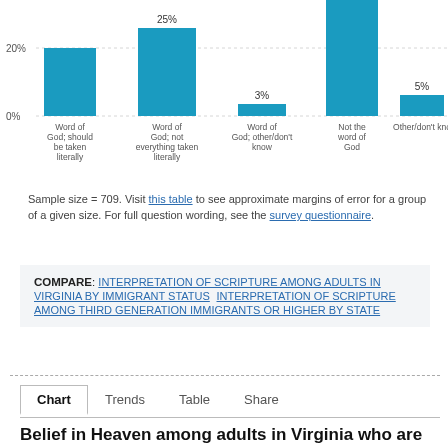[Figure (bar-chart): Interpretation of Scripture (partial)]
Sample size = 709. Visit this table to see approximate margins of error for a group of a given size. For full question wording, see the survey questionnaire.
COMPARE: INTERPRETATION OF SCRIPTURE AMONG ADULTS IN VIRGINIA BY IMMIGRANT STATUS   INTERPRETATION OF SCRIPTURE AMONG THIRD GENERATION IMMIGRANTS OR HIGHER BY STATE
Chart  Trends  Table  Share
Belief in Heaven among adults in Virginia who are third generation immigrants or higher